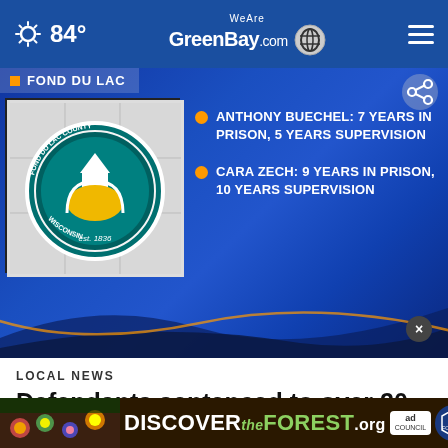84° WeAreGreenBay.com
[Figure (screenshot): TV news broadcast screenshot showing Fond Du Lac County seal on left, and two bullet points on blue background: 'ANTHONY BUECHEL: 7 YEARS IN PRISON, 5 YEARS SUPERVISION' and 'CARA ZECH: 9 YEARS IN PRISON, 10 YEARS SUPERVISION']
LOCAL NEWS
Defendants sentenced to over 20 years behind bars for 2018 her…
[Figure (infographic): DiscovertheForest.org advertisement banner with ad council and US Forest Service logos]